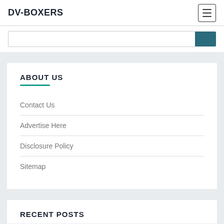DV-BOXERS
ABOUT US
Contact Us
Advertise Here
Disclosure Policy
Sitemap
RECENT POSTS